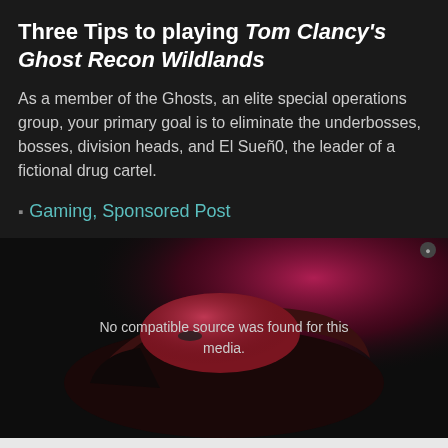Three Tips to playing Tom Clancy's Ghost Recon Wildlands
As a member of the Ghosts, an elite special operations group, your primary goal is to eliminate the underbosses, bosses, division heads, and El Sueño, the leader of a fictional drug cartel.
Gaming, Sponsored Post
[Figure (photo): Close-up of a dark red/black gaming mouse with pink/magenta lighting background. Overlay text reads: No compatible source was found for this media.]
[Figure (other): Light gray advertisement area with a circular X/close button icon in the center.]